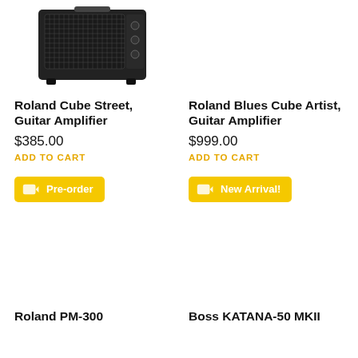[Figure (photo): Roland Cube Street Guitar Amplifier product photo - small black amplifier with metal grille]
Roland Cube Street, Guitar Amplifier
$385.00
ADD TO CART
Pre-order
[Figure (photo): Roland Blues Cube Artist Guitar Amplifier product photo - partial/absent]
Roland Blues Cube Artist, Guitar Amplifier
$999.00
ADD TO CART
New Arrival!
Roland PM-300
Boss KATANA-50 MKII